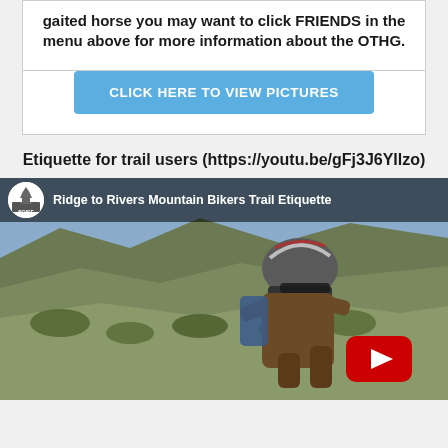Over the Hill Gang (OTHG). If you ride a gaited horse you may want to click FRIENDS in the menu above for more information about the OTHG.
[Figure (screenshot): Blue button labeled CLICK HERE TO VIEW PICTURES]
Etiquette for trail users (https://youtu.be/gFj3J6YIlzo)
[Figure (screenshot): YouTube video thumbnail for Ridge to Rivers Mountain Bikers Trail Etiquette, showing a mountain biker riding on a hillside trail, with Boise logo and YouTube play button overlay]